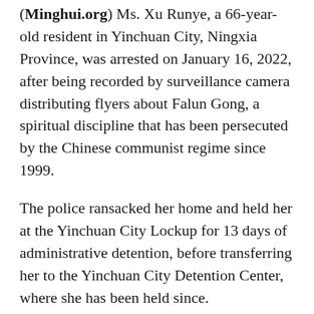(Minghui.org) Ms. Xu Runye, a 66-year-old resident in Yinchuan City, Ningxia Province, was arrested on January 16, 2022, after being recorded by surveillance camera distributing flyers about Falun Gong, a spiritual discipline that has been persecuted by the Chinese communist regime since 1999.
The police ransacked her home and held her at the Yinchuan City Lockup for 13 days of administrative detention, before transferring her to the Yinchuan City Detention Center, where she has been held since.
Ms. Xu was previously arrested on November 23, 2016 for her faith in Falun Gong, which she credits for curing her breast cancer. She was later sentenced to 3.5 years to the Ningxia Province Women's Prison by the Jinfeng District Court. Her latest arrest came less